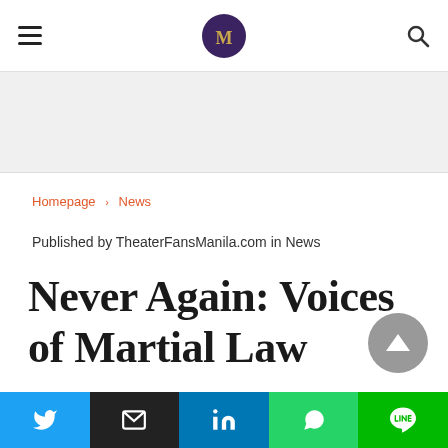TheaterFansManila.com navigation bar with hamburger menu, logo, and search icon
[Figure (other): Gray banner/advertisement placeholder area]
Homepage › News
Published by TheaterFansManila.com in News
Never Again: Voices of Martial Law
[Figure (other): Scroll-to-top circular button with upward arrow]
[Figure (other): Social share bar with Twitter, Email, LinkedIn, WhatsApp, and LINE buttons]